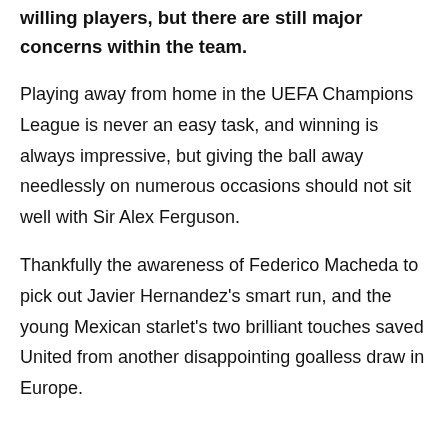willing players, but there are still major concerns within the team.
Playing away from home in the UEFA Champions League is never an easy task, and winning is always impressive, but giving the ball away needlessly on numerous occasions should not sit well with Sir Alex Ferguson.
Thankfully the awareness of Federico Macheda to pick out Javier Hernandez's smart run, and the young Mexican starlet's two brilliant touches saved United from another disappointing goalless draw in Europe.